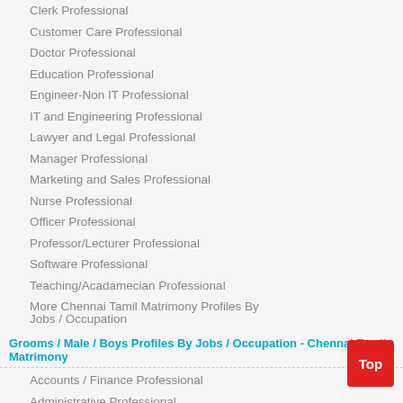Clerk Professional
Customer Care Professional
Doctor Professional
Education Professional
Engineer-Non IT Professional
IT and Engineering Professional
Lawyer and Legal Professional
Manager Professional
Marketing and Sales Professional
Nurse Professional
Officer Professional
Professor/Lecturer Professional
Software Professional
Teaching/Acadamecian Professional
More Chennai Tamil Matrimony Profiles By Jobs / Occupation
Grooms / Male / Boys Profiles By Jobs / Occupation - Chennai Tamil Matrimony
Accounts / Finance Professional
Administrative Professional
Banking and Finance Professional